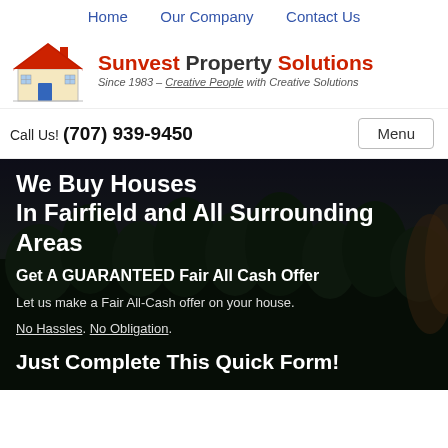Home   Our Company   Contact Us
[Figure (logo): Sunvest Property Solutions logo with house illustration and tagline: Since 1983 - Creative People with Creative Solutions]
Call Us! (707) 939-9450   Menu
[Figure (photo): Dark outdoor background photo with trees/foliage]
We Buy Houses In Fairfield and All Surrounding Areas
Get A GUARANTEED Fair All Cash Offer
Let us make a Fair All-Cash offer on your house.
No Hassles. No Obligation.
Just Complete This Quick Form!